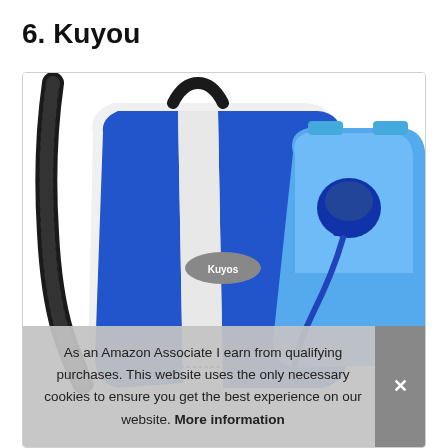6. Kuyou
[Figure (photo): Blue and white Kuyou hydration backpack shown next to a blue water reservoir/bladder with a drinking tube, product photo on white background]
As an Amazon Associate I earn from qualifying purchases. This website uses the only necessary cookies to ensure you get the best experience on our website. More information